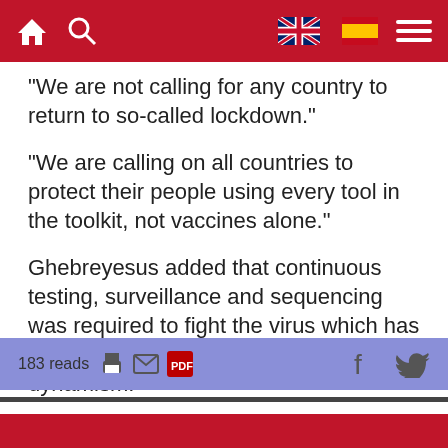Navigation bar with home, search, UK flag, Spain flag, and menu icons
"We are not calling for any country to return to so-called lockdown."
"We are calling on all countries to protect their people using every tool in the toolkit, not vaccines alone."
Ghebreyesus added that continuous testing, surveillance and sequencing was required to fight the virus which has shown a significant amount of dynamism.
"We can't fight this virus if we don't know what it's doing."
183 reads | print | email | PDF | Facebook | Twitter